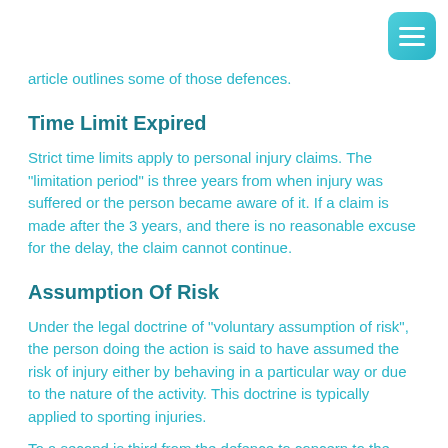article outlines some of those defences.
Time Limit Expired
Strict time limits apply to personal injury claims. The "limitation period" is three years from when injury was suffered or the person became aware of it. If a claim is made after the 3 years, and there is no reasonable excuse for the delay, the claim cannot continue.
Assumption Of Risk
Under the legal doctrine of "voluntary assumption of risk", the person doing the action is said to have assumed the risk of injury either by behaving in a particular way or due to the nature of the activity. This doctrine is typically applied to sporting injuries.
To a second is third from the defence to concern to the